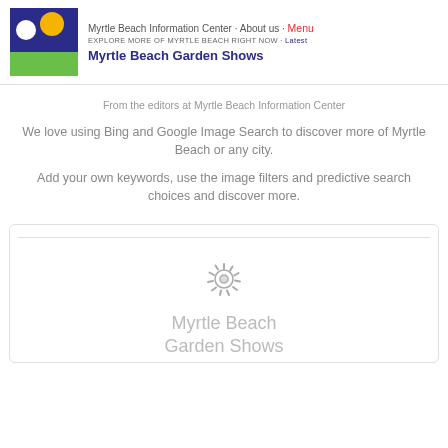Myrtle Beach Information Center · About us · Menu
EXPLORE MORE OF MYRTLE BEACH RIGHT NOW · Latest
Myrtle Beach Garden Shows
From the editors at Myrtle Beach Information Center
We love using Bing and Google Image Search to discover more of Myrtle Beach or any city.
Add your own keywords, use the image filters and predictive search choices and discover more.
[Figure (other): Card with loading spinner icon and title text 'Myrtle Beach Garden Shows']
Myrtle Beach Garden Shows